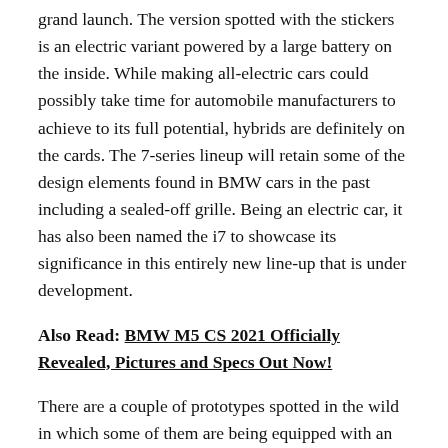grand launch. The version spotted with the stickers is an electric variant powered by a large battery on the inside. While making all-electric cars could possibly take time for automobile manufacturers to achieve to its full potential, hybrids are definitely on the cards. The 7-series lineup will retain some of the design elements found in BMW cars in the past including a sealed-off grille. Being an electric car, it has also been named the i7 to showcase its significance in this entirely new line-up that is under development.
Also Read: BMW M5 CS 2021 Officially Revealed, Pictures and Specs Out Now!
There are a couple of prototypes spotted in the wild in which some of them are being equipped with an internal combustion engine. It is unclear whether the company is going for an electric variant and a traditional gasoline-